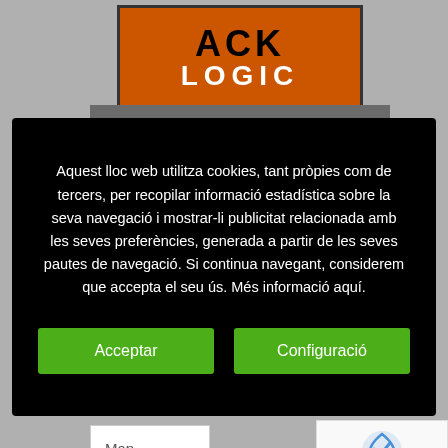[Figure (logo): ACK LOGIC orange and black logo with 'acklogic' label bar below]
Aquest lloc web utilitza cookies, tant pròpies com de tercers, per recopilar informació estadística sobre la seva navegació i mostrar-li publicitat relacionada amb les seves preferències, generada a partir de les seves pautes de navegació. Si continua navegant, considerem que accepta el seu ús. Més informació aquí.
Acceptar
Configuració
Map